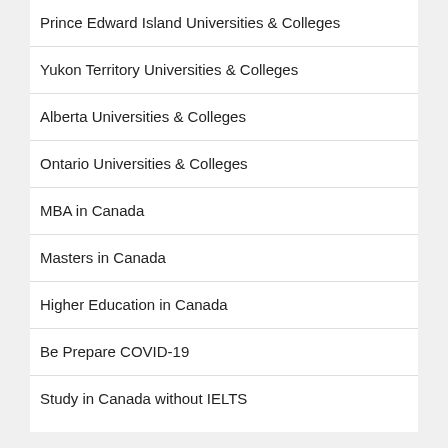Prince Edward Island Universities & Colleges
Yukon Territory Universities & Colleges
Alberta Universities & Colleges
Ontario Universities & Colleges
MBA in Canada
Masters in Canada
Higher Education in Canada
Be Prepare COVID-19
Study in Canada without IELTS
STUDY IN AUSTRALIA
STUDY IN CANADA
STUDY IN UK
STUDY IN NEW ZEALAND
STUDY IN USA